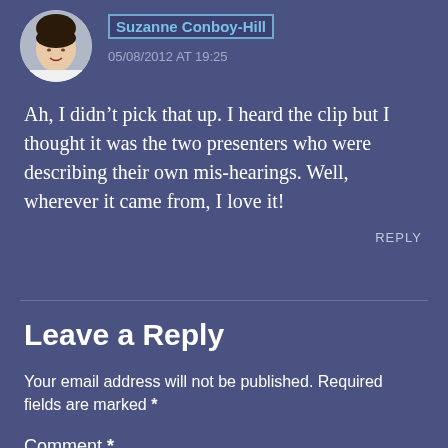[Figure (photo): Circular avatar photo of Suzanne Conboy-Hill, a woman with dark hair, smiling]
Suzanne Conboy-Hill
05/08/2012 AT 19:25
Ah, I didn’t pick that up. I heard the clip but I thought it was the two presenters who were describing their own mis-hearings. Well, wherever it came from, I love it!
REPLY
Leave a Reply
Your email address will not be published. Required fields are marked *
Comment *